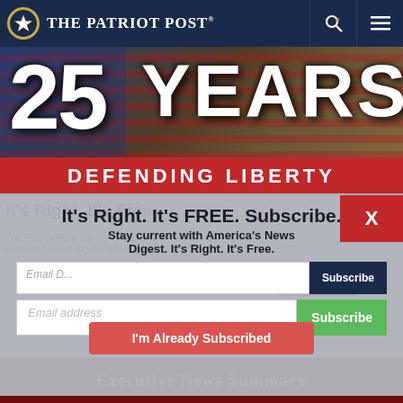The Patriot Post
[Figure (illustration): 25 YEARS DEFENDING LIBERTY banner with American flag background]
It's Right. It's Free. It's Right. It's FREE. Subscribe.
Stay current with America's News Digest. It's Right. It's Free.
The Patriot Post: All the news relevant to liberty, delivered direct to your email inbox.
Email address | Subscribe button
Email address | Subscribe button (green)
READ THE LATEST DIGEST >
I'm Already Subscribed
Executive News Summary